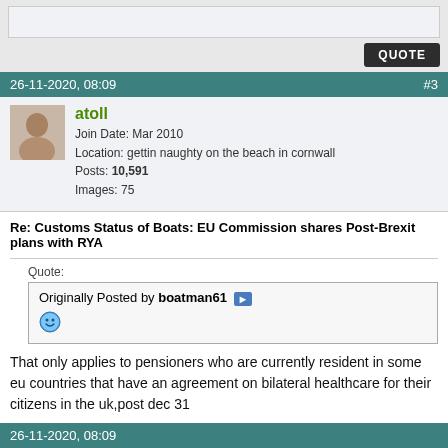26-11-2020, 08:09  #3
Join Date: Mar 2010
Location: gettin naughty on the beach in cornwall
Posts: 10,591
Images: 75
Re: Customs Status of Boats: EU Commission shares Post-Brexit plans with RYA
Quote:
Originally Posted by boatman61 [view post]
[smiley face emoji]
That only applies to pensioners who are currently resident in some eu countries that have an agreement on bilateral healthcare for their citizens in the uk,post dec 31
26-11-2020, 08:09  #4